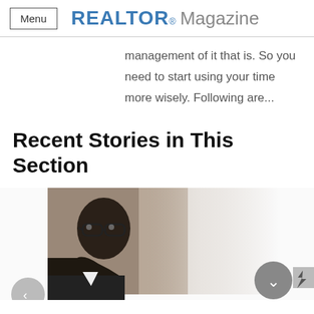Menu | REALTOR® Magazine
management of it that is. So you need to start using your time more wisely. Following are...
Recent Stories in This Section
[Figure (photo): Close-up side profile of a man wearing glasses, partially in shadow, with a blurred light background on the right side. Navigation arrows and a back-to-top button are overlaid on the image.]